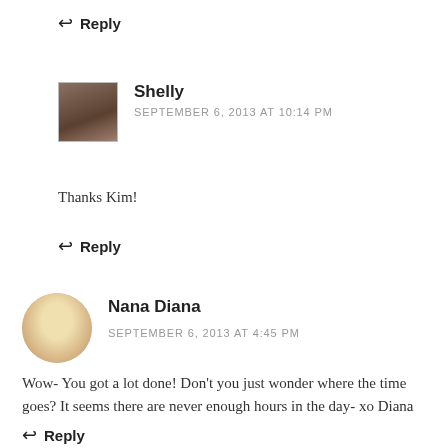↩ Reply
Shelly
SEPTEMBER 6, 2013 AT 10:14 PM
Thanks Kim!
↩ Reply
Nana Diana
SEPTEMBER 6, 2013 AT 4:45 PM
Wow- You got a lot done! Don't you just wonder where the time goes? It seems there are never enough hours in the day- xo Diana
↩ Reply